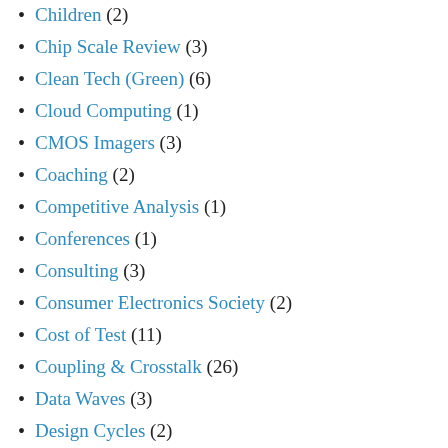Children (2)
Chip Scale Review (3)
Clean Tech (Green) (6)
Cloud Computing (1)
CMOS Imagers (3)
Coaching (2)
Competitive Analysis (1)
Conferences (1)
Consulting (3)
Consumer Electronics Society (2)
Cost of Test (11)
Coupling & Crosstalk (26)
Data Waves (3)
Design Cycles (2)
DRAM (8)
Economics (10)
Education (4)